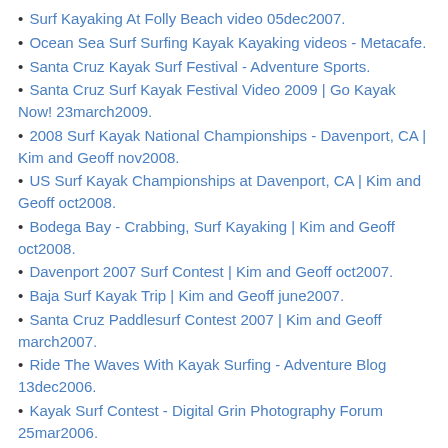Surf Kayaking At Folly Beach video 05dec2007.
Ocean Sea Surf Surfing Kayak Kayaking videos - Metacafe.
Santa Cruz Kayak Surf Festival - Adventure Sports.
Santa Cruz Surf Kayak Festival Video 2009 | Go Kayak Now! 23march2009.
2008 Surf Kayak National Championships - Davenport, CA | Kim and Geoff nov2008.
US Surf Kayak Championships at Davenport, CA | Kim and Geoff oct2008.
Bodega Bay - Crabbing, Surf Kayaking | Kim and Geoff oct2008.
Davenport 2007 Surf Contest | Kim and Geoff oct2007.
Baja Surf Kayak Trip | Kim and Geoff june2007.
Santa Cruz Paddlesurf Contest 2007 | Kim and Geoff march2007.
Ride The Waves With Kayak Surfing - Adventure Blog 13dec2006.
Kayak Surf Contest - Digital Grin Photography Forum 25mar2006.
Ocean Surf Kayaking Paddlesports Directory